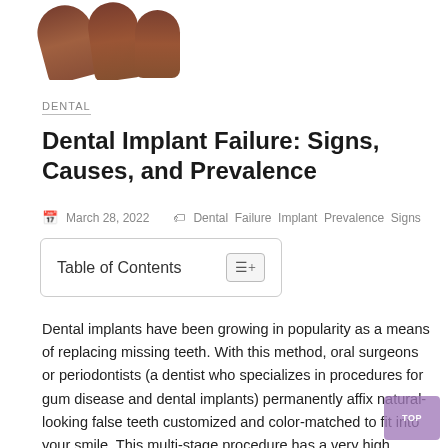[Figure (photo): Close-up photo of fingers/hand at the top of the page, partially cropped]
DENTAL
Dental Implant Failure: Signs, Causes, and Prevalence
March 28, 2022   Dental  Failure  Implant  Prevalence  Signs
Table of Contents
Dental implants have been growing in popularity as a means of replacing missing teeth. With this method, oral surgeons or periodontists (a dentist who specializes in procedures for gum disease and dental implants) permanently affix natural-looking false teeth customized and color-matched to fit into your smile. This multi-stage procedure has a very high success rate, with 90%-95% of implants lasting without an issue for 15 years or longer.